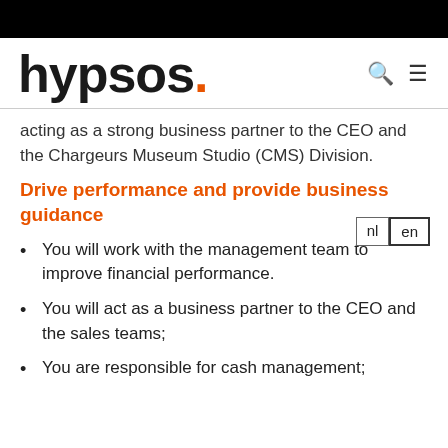hypsos.
acting as a strong business partner to the CEO and the Chargeurs Museum Studio (CMS) Division.
Drive performance and provide business guidance
You will work with the management team to improve financial performance.
You will act as a business partner to the CEO and the sales teams;
You are responsible for cash management;